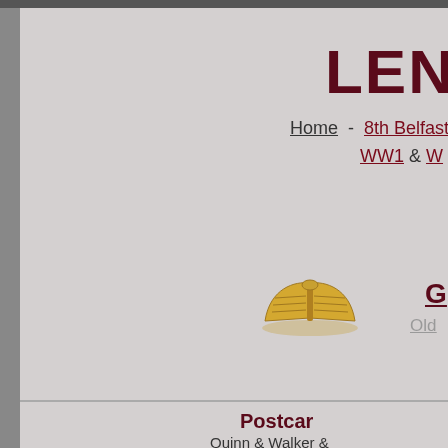LENNO...
Home - 8th Belfast... WW1 & W...
[Figure (illustration): Gold open book icon/logo]
G... Old...
[Figure (illustration): Red hand/glove icon]
ple... every penny help...
TH...
[Figure (logo): Google logo]
www  (radio buttons)
Postcar...
Quinn & Walker &...